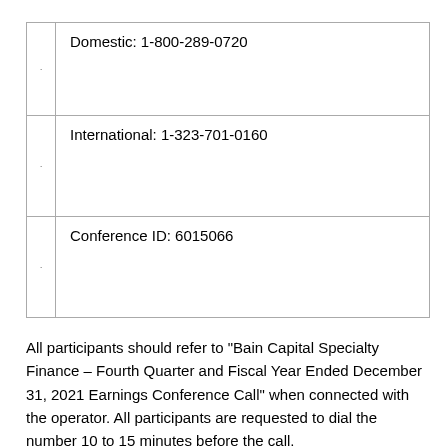Domestic: 1-800-289-0720
International: 1-323-701-0160
Conference ID: 6015066
All participants should refer to “Bain Capital Specialty Finance – Fourth Quarter and Fiscal Year Ended December 31, 2021 Earnings Conference Call” when connected with the operator. All participants are requested to dial the number 10 to 15 minutes before the call.
Proofreading information:
An archived replay will be available approximately three hours after the conference call and until March 3, 2022 at...